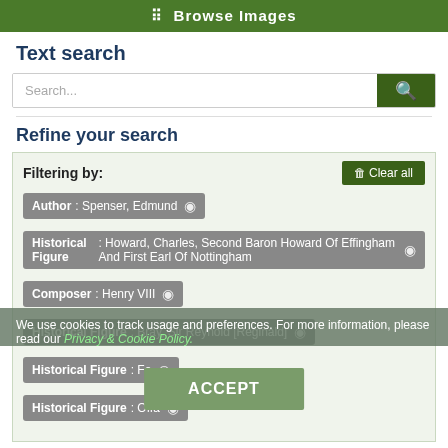⠿ Browse Images
Text search
Search...
Refine your search
Filtering by:
Author: Spenser, Edmund ✕
Historical Figure: Howard, Charles, Second Baron Howard Of Effingham And First Earl Of Nottingham ✕
Composer: Henry VIII ✕
Historical Figure: Bray, Sir Reynold [Reginald] ✕
Historical Figure: Fo... ✕
Historical Figure: Offa ✕
We use cookies to track usage and preferences. For more information, please read our Privacy & Cookie Policy.